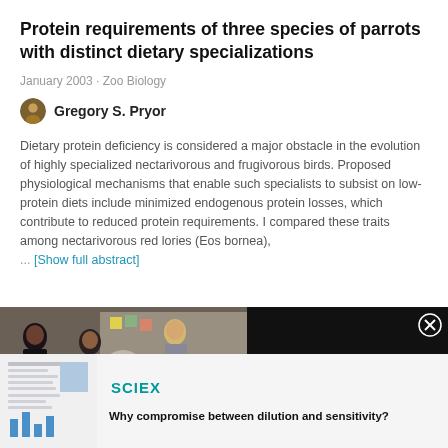Protein requirements of three species of parrots with distinct dietary specializations
January 2003 · Zoo Biology
Gregory S. Pryor
Dietary protein deficiency is considered a major obstacle in the evolution of highly specialized nectarivorous and frugivorous birds. Proposed physiological mechanisms that enable such specialists to subsist on low-protein diets include minimized endogenous protein losses, which contribute to reduced protein requirements. I compared these traits among nectarivorous red lories (Eos bornea), ... [Show full abstract]
[Figure (screenshot): Dark advertisement strip showing a video thumbnail of people in an office meeting with overlay text 'ARE MARKETING ... ON AUTOPILOT?' and a play button, alongside text 'Are marketing budgets on autopilot?' with a close button.]
[Figure (photo): Bottom advertisement for SCIEX brand. Shows a thumbnail of a scientific document with bar charts, the SCIEX logo in teal, and the tagline 'Why compromise between dilution and sensitivity?']